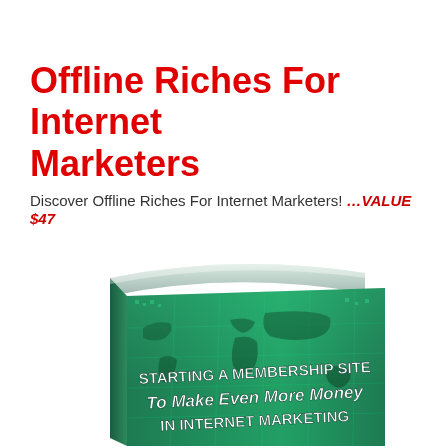Offline Riches For Internet Marketers
Discover Offline Riches For Internet Marketers! …VALUE $47
[Figure (illustration): 3D book cover with teal/green world map background, titled 'STARTING A MEMBERSHIP SITE To Make Even More Money IN INTERNET MARKETING']